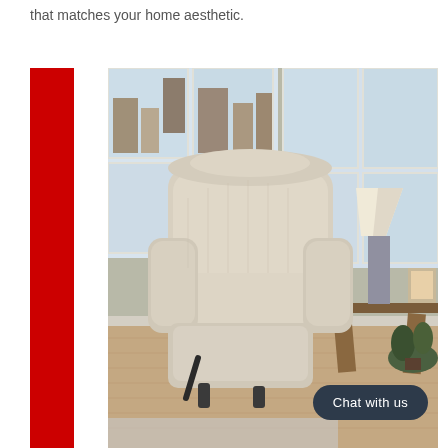that matches your home aesthetic.
[Figure (photo): A beige fabric recliner chair in the reclined position, situated in a living room with large windows showing a city skyline. A wooden side table with a silver lamp and a framed picture of a horse is visible to the right. A green plant sits on the floor beside the table. The room has light gray walls and hardwood flooring.]
Chat with us